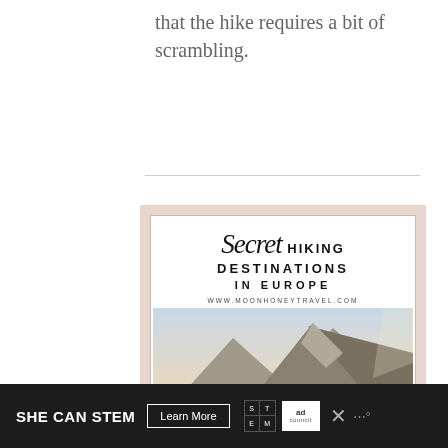that the hike requires a bit of scrambling.
[Figure (illustration): Advertisement for 'Secret Hiking Destinations in Europe' from www.moonhoneytravel.com, showing a mountain landscape photo below the text, with a pink/blush outer border and white inner card.]
SHE CAN STEM   Learn More